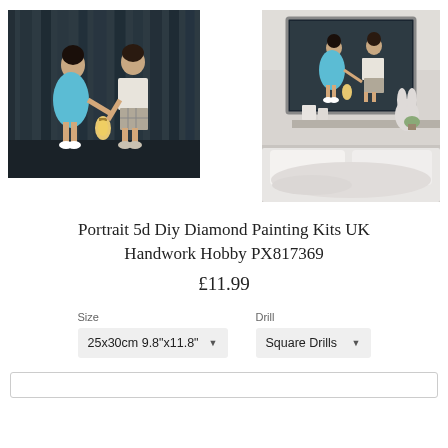[Figure (photo): Two children standing against a dark wooden fence background - a girl in a teal/turquoise dress and a boy in a white shirt and plaid shorts, holding a lantern between them]
[Figure (photo): The same children photo displayed as a framed artwork hung on a wall above a bed with white bedding and decorative items on a shelf]
Portrait 5d Diy Diamond Painting Kits UK Handwork Hobby PX817369
£11.99
Size
Drill
25x30cm 9.8"x11.8"
Square Drills